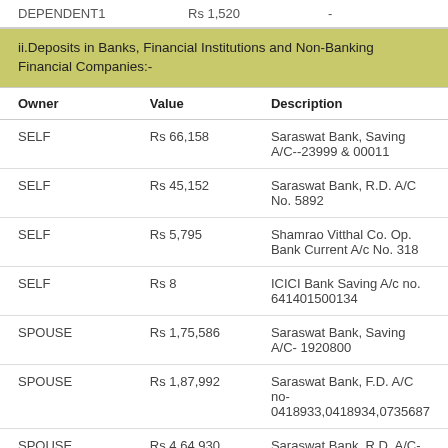| Owner | Value | Description |
| --- | --- | --- |
| DEPENDENT1 | Rs 1,520 | - |
ii.Deposits in Banks, Financial Institutions and Non-Banking Financial Companies:-
| Owner | Value | Description |
| --- | --- | --- |
| SELF | Rs 66,158 | Saraswat Bank, Saving A/C--23999 & 00011 |
| SELF | Rs 45,152 | Saraswat Bank, R.D. A/C No. 5892 |
| SELF | Rs 5,795 | Shamrao Vitthal Co. Op. Bank Current A/c No. 318 |
| SELF | Rs 8 | ICICI Bank Saving A/c no. 641401500134 |
| SPOUSE | Rs 1,75,586 | Saraswat Bank, Saving A/C- 1920800 |
| SPOUSE | Rs 1,87,992 | Saraswat Bank, F.D. A/C no- 0418933,0418934,0735687 |
| SPOUSE | Rs 4,64,930 | Saraswat Bank, R.D. A/C-201 |